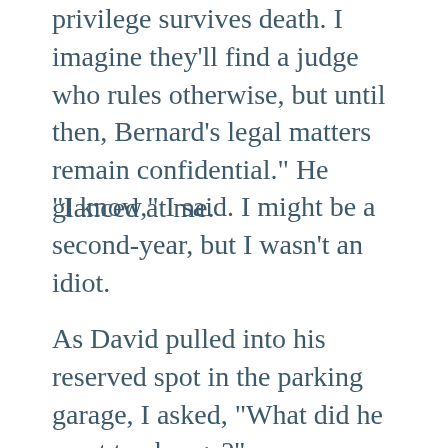privilege survives death. I imagine they'll find a judge who rules otherwise, but until then, Bernard's legal matters remain confidential." He glanced at me.
"I know," I said. I might be a second-year, but I wasn't an idiot.
As David pulled into his reserved spot in the parking garage, I asked, "What did he want to change?"
"Ultimately, everything," David said as we climbed out. His Mercedes sat...